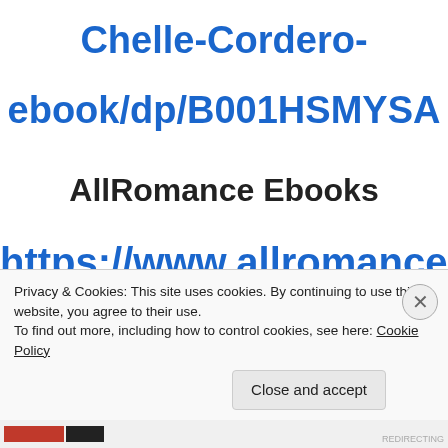Chelle-Cordero-
ebook/dp/B001HSMYSA
AllRomance Ebooks
https://www.allromanceebooks.com/pr
oduct-withinthelaw-17761-149.html
Privacy & Cookies: This site uses cookies. By continuing to use this website, you agree to their use. To find out more, including how to control cookies, see here: Cookie Policy
Close and accept